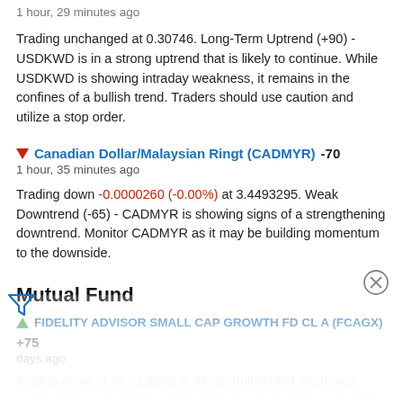1 hour, 29 minutes ago
Trading unchanged at 0.30746. Long-Term Uptrend (+90) - USDKWD is in a strong uptrend that is likely to continue. While USDKWD is showing intraday weakness, it remains in the confines of a bullish trend. Traders should use caution and utilize a stop order.
Canadian Dollar/Malaysian Ringt (CADMYR) -70
1 hour, 35 minutes ago
Trading down -0.0000260 (-0.00%) at 3.4493295. Weak Downtrend (-65) - CADMYR is showing signs of a strengthening downtrend. Monitor CADMYR as it may be building momentum to the downside.
Mutual Fund
FIDELITY ADVISOR SMALL CAP GROWTH FD CL A (FCAGX) +75
days ago
Trading down -0.46 (-1.88%) at 24.00. Bull Market Weakness (+75) - FCAGX is showing signs of short-term weakness, but still remains in the confines of a long-term uptrend. Keep an eye on FCAGX as it may be in the beginning stages of a reversal.